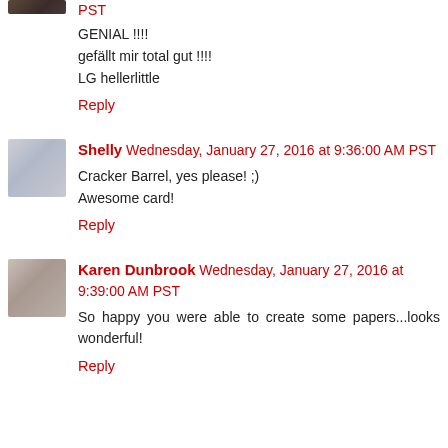PST
GENIAL !!!!
gefällt mir total gut !!!!
LG hellerlittle
Reply
Shelly Wednesday, January 27, 2016 at 9:36:00 AM PST
Cracker Barrel, yes please! ;)
Awesome card!
Reply
Karen Dunbrook Wednesday, January 27, 2016 at 9:39:00 AM PST
So happy you were able to create some papers...looks wonderful!
Reply